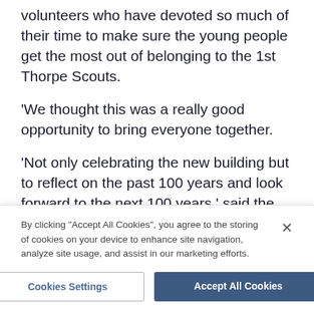volunteers who have devoted so much of their time to make sure the young people get the most out of belonging to the 1st Thorpe Scouts.
'We thought this was a really good opportunity to bring everyone together.
'Not only celebrating the new building but to reflect on the past 100 years and look forward to the next 100 years,' said the chair of the group and the events committee Michelle Applin.
If you would like to go along please get in touch with Michelle on michelleapplin@gmail.com
By clicking "Accept All Cookies", you agree to the storing of cookies on your device to enhance site navigation, analyze site usage, and assist in our marketing efforts.